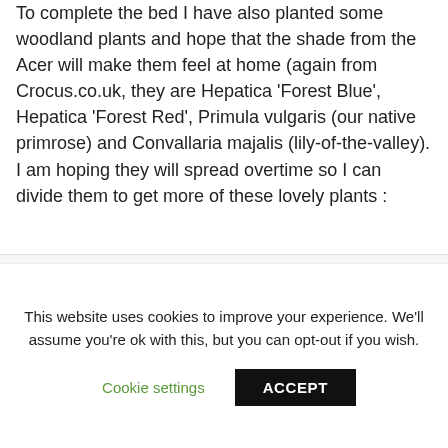To complete the bed I have also planted some woodland plants and hope that the shade from the Acer will make them feel at home (again from Crocus.co.uk, they are Hepatica 'Forest Blue', Hepatica 'Forest Red', Primula vulgaris (our native primrose) and Convallaria majalis (lily-of-the-valley). I am hoping they will spread overtime so I can divide them to get more of these lovely plants :
[Figure (photo): Two plant photos side by side: left shows close-up of purple/blue flowers (likely Hepatica), right shows green leaf with pink flower edge visible]
This website uses cookies to improve your experience. We'll assume you're ok with this, but you can opt-out if you wish. Cookie settings ACCEPT